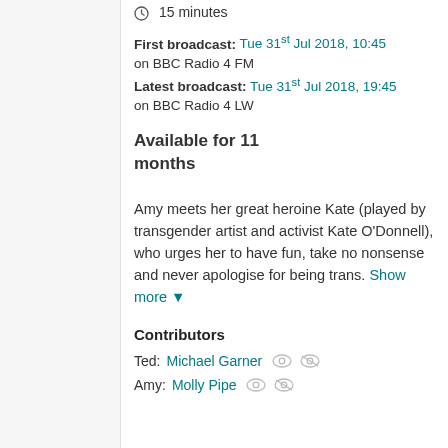15 minutes
First broadcast: Tue 31st Jul 2018, 10:45 on BBC Radio 4 FM
Latest broadcast: Tue 31st Jul 2018, 19:45 on BBC Radio 4 LW
Available for 11 months
Amy meets her great heroine Kate (played by transgender artist and activist Kate O'Donnell), who urges her to have fun, take no nonsense and never apologise for being trans. Show more
Contributors
Ted: Michael Garner
Amy: Molly Pipe